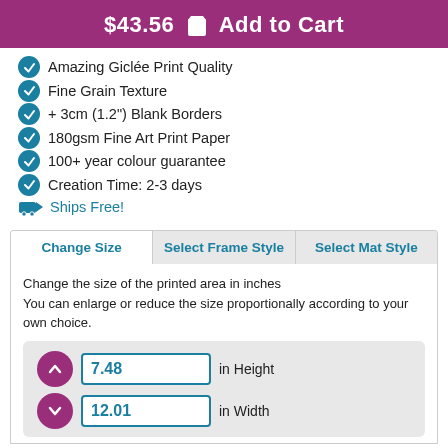$43.56 🛒 Add to Cart
Amazing Giclée Print Quality
Fine Grain Texture
+ 3cm (1.2") Blank Borders
180gsm Fine Art Print Paper
100+ year colour guarantee
Creation Time: 2-3 days
Ships Free!
Change Size | Select Frame Style | Select Mat Style
Change the size of the printed area in inches
You can enlarge or reduce the size proportionally according to your own choice.
7.48 in Height
12.01 in Width